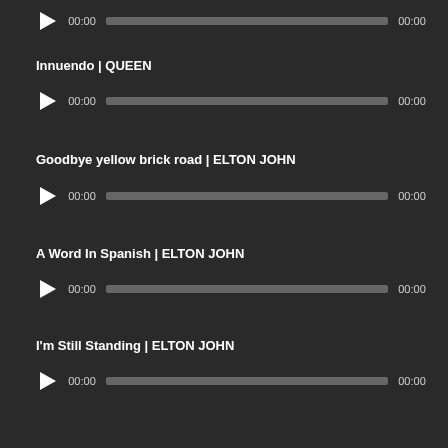[Figure (screenshot): Audio player row at top, partially visible, showing play button, 00:00 time labels and progress bar]
Innuendo | QUEEN
[Figure (screenshot): Audio player for Innuendo by QUEEN showing play button, 00:00 start time, grey progress bar, 00:00 end time]
Goodbye yellow brick road | ELTON JOHN
[Figure (screenshot): Audio player for Goodbye yellow brick road by ELTON JOHN showing play button, 00:00 start time, grey progress bar, 00:00 end time]
A Word In Spanish | ELTON JOHN
[Figure (screenshot): Audio player for A Word In Spanish by ELTON JOHN showing play button, 00:00 start time, grey progress bar, 00:00 end time]
I'm Still Standing | ELTON JOHN
[Figure (screenshot): Audio player for I'm Still Standing by ELTON JOHN showing play button, 00:00 start time, grey progress bar, 00:00 end time]